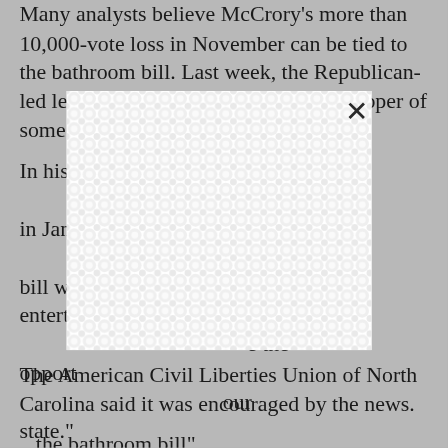Many analysts believe McCrory's more than 10,000-vote loss in November can be tied to the bathroom bill. Last week, the Republican-led legislature passed bills stripping Cooper of some of his p[...]
[Figure (other): A white modal/popup overlay with a decorative repeating circular pattern (light gray interlocking circles/dots on white background) and an X close button in the upper right corner, obscuring part of the article text beneath.]
In his s[...] office in Janu[...] room bill wil[...] entert[...] e the opport[...] our state."
The American Civil Liberties Union of North Carolina said it was encouraged by the news.
...the bathroom bill"...